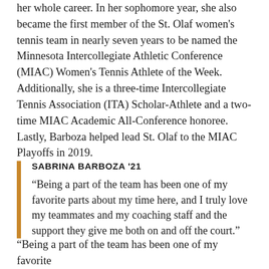her whole career. In her sophomore year, she also became the first member of the St. Olaf women's tennis team in nearly seven years to be named the Minnesota Intercollegiate Athletic Conference (MIAC) Women's Tennis Athlete of the Week. Additionally, she is a three-time Intercollegiate Tennis Association (ITA) Scholar-Athlete and a two-time MIAC Academic All-Conference honoree. Lastly, Barboza helped lead St. Olaf to the MIAC Playoffs in 2019.
SABRINA BARBOZA '21
“Being a part of the team has been one of my favorite parts about my time here, and I truly love my teammates and my coaching staff and the support they give me both on and off the court.”
“Being a part of the team has been one of my favorite